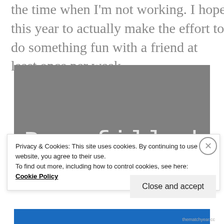the time when I'm not working. I hope this year to actually make the effort to do something fun with a friend at least once per week.
[Figure (photo): Gray background image with white monospaced text reading 'Be filled' at the bottom]
Privacy & Cookies: This site uses cookies. By continuing to use this website, you agree to their use.
To find out more, including how to control cookies, see here:
Cookie Policy
Close and accept